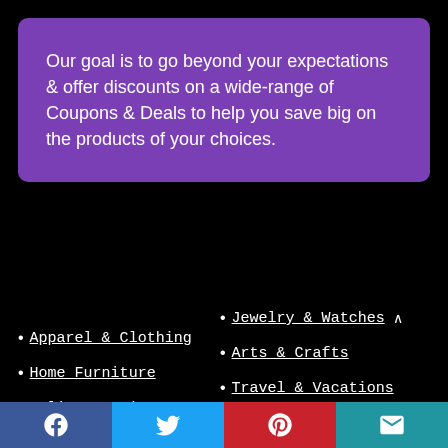Our goal is to go beyond your expectations & offer discounts on a wide-range of Coupons & Deals to help you save big on the products of your choices.
Apparel & Clothing
Home Furniture
Online Services
Jewelry & Watches
Arts & Crafts
Travel & Vacations
Electronics
Facebook Twitter Pinterest Email